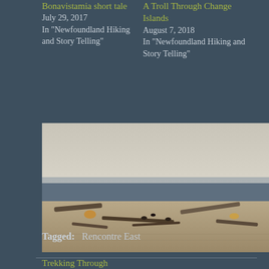Bonavistamia short tale
July 29, 2017
In "Newfoundland Hiking and Story Telling"
A Troll Through Change Islands
August 7, 2018
In "Newfoundland Hiking and Story Telling"
[Figure (photo): Beach or shoreline scene with birds and driftwood on sand, muted tones of grey, white and tan]
Trekking Through Sandbanks Provincial Park, Burgeo.
September 14, 2019
In "Newfoundland Hiking and Story Telling"
Tagged:  Rencontre East